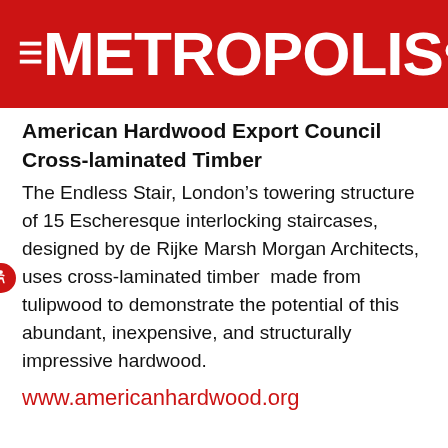METROPOLIS
American Hardwood Export Council
Cross-laminated Timber
The Endless Stair, London’s towering structure of 15 Escheresque interlocking staircases, designed by de Rijke Marsh Morgan Architects, uses cross-laminated timber  made from tulipwood to demonstrate the potential of this abundant, inexpensive, and structurally impressive hardwood.
www.americanhardwood.org